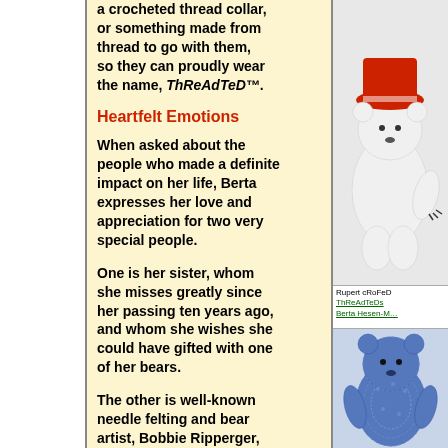a crocheted thread collar, or something made from thread to go with them, so they can proudly wear the name, ThReAdTeD™.
Heartfelt Emotions
When asked about the people who made a definite impact on her life, Berta expresses her love and appreciation for two very special people.
One is her sister, whom she misses greatly since her passing ten years ago, and whom she wishes she could have gifted with one of her bears.
The other is well-known needle felting and bear artist, Bobbie Ripperger, a patient mentor who strengthened Berta with friendship, tips/ technical advice and encouragement she
[Figure (photo): Crocheted bear with red hat, white body, viewed from behind/side]
Rupert cRoFeD ThReAdTeDs Berta Hesen-M…
[Figure (photo): Blue crocheted bear figure]